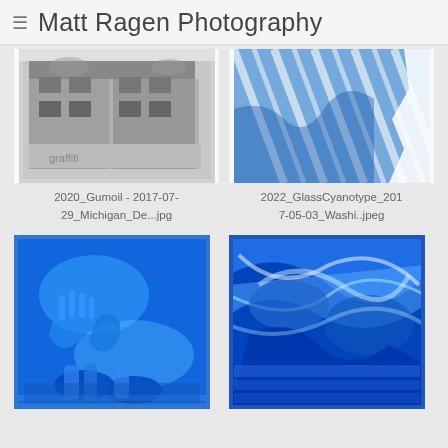Matt Ragen Photography
[Figure (photo): Black and white photograph of an abandoned building with graffiti]
2020_Gumoil - 2017-07-29_Michigan_De...jpg
[Figure (photo): Blue and white cyanotype image with striped fabric pattern]
2022_GlassCyanotype_2017-05-03_Washi..jpeg
[Figure (photo): Cyanotype photograph showing hands and feet in blue tones]
[Figure (photo): Abstract cyanotype photograph with swirling blue and white patterns]